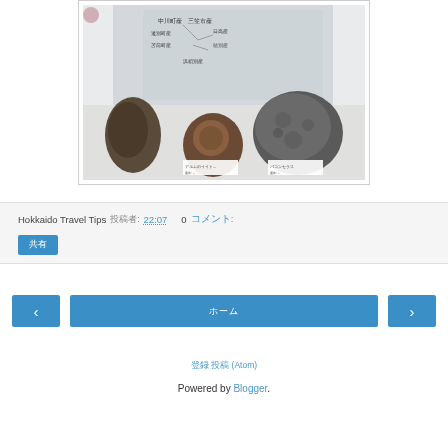[Figure (photo): Museum display case showing fossil specimens with Japanese labels. Three dark fossil rocks on a white shelf, with a map/diagram panel showing Japanese location names (中川町産, 三笠市産, 遠別町産, 苫前町産, 日高産, 穂別産, 浜頓別産) in the background.]
Hokkaido Travel Tips 投稿者: 22:07  0 コメント:
共有
‹ › ホーム
登録 投稿 (Atom)
Powered by Blogger.